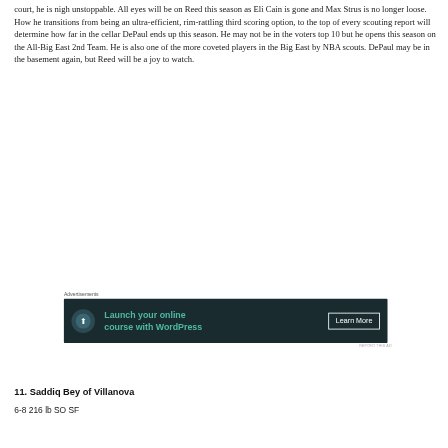court, he is nigh unstoppable. All eyes will be on Reed this season as Eli Cain is gone and Max Strus is no longer loose. How he transitions from being an ultra-efficient, rim-rattling third scoring option, to the top of every scouting report will determine how far in the cellar DePaul ends up this season. He may not be in the voters top 10 but he opens this season on the All-Big East 2nd Team. He is also one of the more coveted players in the Big East by NBA scouts. DePaul may be in the basement again, but Reed will be a joy to watch.
[Figure (other): Advertisement banner: 'Launch your online course with WordPress' with a Learn More button on dark teal background]
11. Saddiq Bey of Villanova
6-8 216 lb SO SF